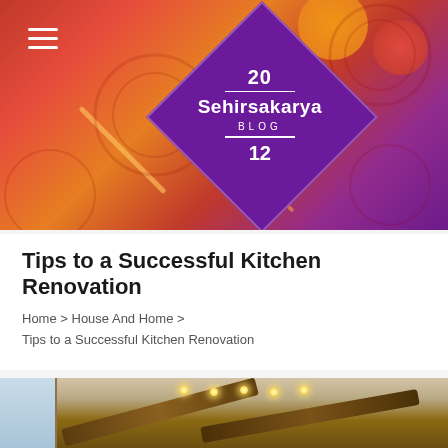[Figure (illustration): Blog header banner with red/orange gradient background, decorative geometric circles and diagonal bars, hamburger menu icon top-left, and a purple diamond-shaped logo in the center-right showing '20', 'Sehirsakarya', 'BLOG', '12']
Tips to a Successful Kitchen Renovation
Home > House And Home > Tips to a Successful Kitchen Renovation
[Figure (photo): Interior photo of a kitchen showing wooden ceiling beams with recessed lights and a window on the left side]